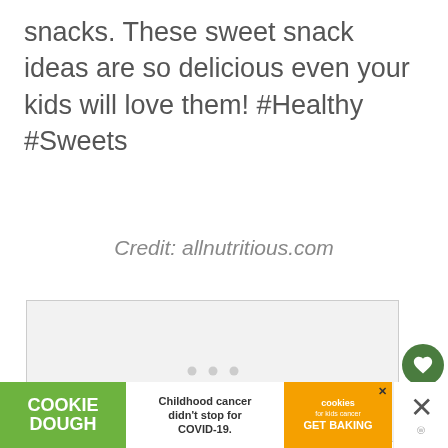snacks. These sweet snack ideas are so delicious even your kids will love them! #Healthy #Sweets
Credit: allnutritious.com
[Figure (photo): Light gray placeholder image box with three small gray dots centered, representing a loading or embedded image.]
[Figure (screenshot): Advertisement banner: Cookie Dough brand ad reading 'Childhood cancer didn't stop for COVID-19.' with orange section showing cookies for kids cancer GET BAKING logo, and a dismiss X button on the right.]